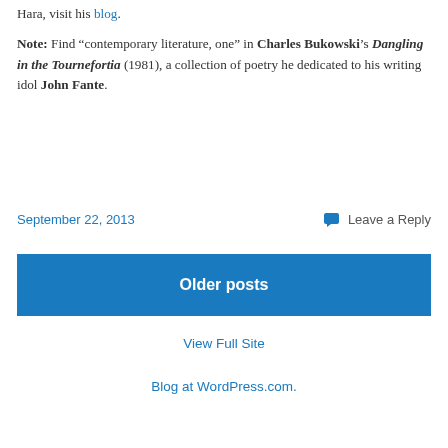Hara, visit his blog.
Note: Find “contemporary literature, one” in Charles Bukowski’s Dangling in the Tournefortia (1981), a collection of poetry he dedicated to his writing idol John Fante.
September 22, 2013
Leave a Reply
Older posts
View Full Site
Blog at WordPress.com.